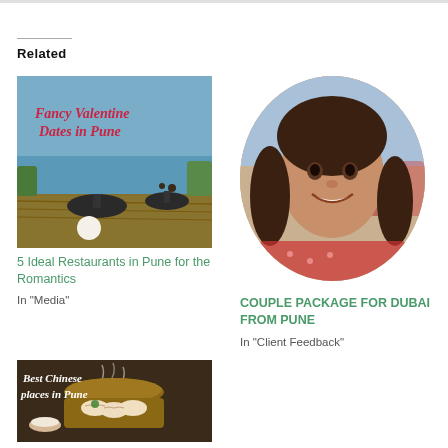Related
[Figure (photo): Photo of outdoor restaurant/rooftop setting with round tables in Pune, with text overlay 'Fancy Valentine Dates in Pune' in red script]
5 Ideal Restaurants in Pune for the Romantics
In "Media"
[Figure (photo): Circular cropped photo of a smiling Indian woman at an outdoor event]
COUPLE PACKAGE FOR DUBAI FROM PUNE
In "Client Feedback"
[Figure (photo): Photo of Chinese dim sum/dumplings in a bamboo steamer with text overlay 'Best Chinese places in Pune']
Flavours of China in Pune